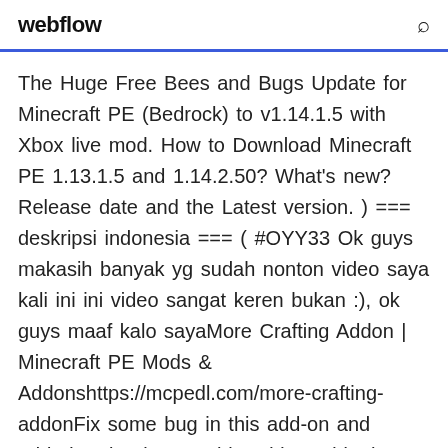webflow
The Huge Free Bees and Bugs Update for Minecraft PE (Bedrock) to v1.14.1.5 with Xbox live mod. How to Download Minecraft PE 1.13.1.5 and 1.14.2.50? What's new? Release date and the Latest version. ) === deskripsi indonesia === ( #OYY33 Ok guys makasih banyak yg sudah nonton video saya kali ini ini video sangat keren bukan :), ok guys maaf kalo sayaMore Crafting Addon | Minecraft PE Mods & Addonshttps://mcpedl.com/more-crafting-addonFix some bug in this add-on and added recipe image This Addon adds the Twilight Lich Boss from the popular PC mod Twilight Forest. Lik...